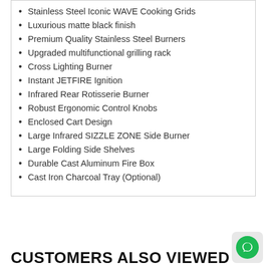Stainless Steel Iconic WAVE Cooking Grids
Luxurious matte black finish
Premium Quality Stainless Steel Burners
Upgraded multifunctional grilling rack
Cross Lighting Burner
Instant JETFIRE Ignition
Infrared Rear Rotisserie Burner
Robust Ergonomic Control Knobs
Enclosed Cart Design
Large Infrared SIZZLE ZONE Side Burner
Large Folding Side Shelves
Durable Cast Aluminum Fire Box
Cast Iron Charcoal Tray (Optional)
CUSTOMERS ALSO VIEWED